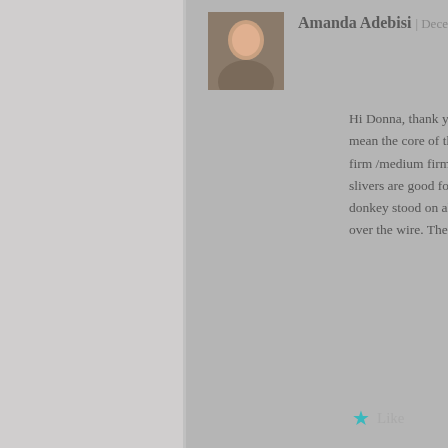Amanda Adebisi | December 18, 2021 at 9:36 a
Hi Donna, thank you. Sorry I’m not sure what yo mean the core of the animal before the long fur t firm /medium firm core wool before adding the f slivers are good for this. Some animals that are s donkey stood on all 4 legs then I use a wire arma over the wire. The wire gives stability. Does this
Like
Reply
Michelle R Spicer | April 13, 2022 at 2:44 pm
Thank you so much for making this so easy to fo
Advertisements
[Figure (screenshot): Pocket Casts advertisement banner: red background with phone image, text 'An app by listeners, for listeners.' and Pocket Casts logo]